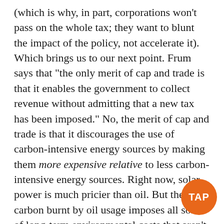(which is why, in part, corporations won't pass on the whole tax; they want to blunt the impact of the policy, not accelerate it). Which brings us to our next point. Frum says that "the only merit of cap and trade is that it enables the government to collect revenue without admitting that a new tax has been imposed." No, the merit of cap and trade is that it discourages the use of carbon-intensive energy sources by making them more expensive relative to less carbon-intensive energy sources. Right now, solar power is much pricier than oil. But the carbon burnt by oil usage imposes all sorts of long-term environmental costs that aren't built into its present price. Cap and trade prices the carbon in the oil, which makes oil relatively expensive as compared to solar energy, which burns no oil. That's the point of cap and trade.
[Figure (logo): Orange circular badge with white text 'TAP']